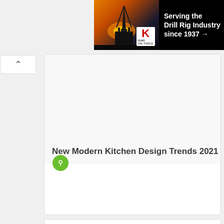[Figure (screenshot): Advertisement banner for King Oil Tools: 'Serving the Drill Rig Industry since 1937 →' with drill rig silhouette image on dark/sunset background and King logo with red K]
[Figure (screenshot): Back navigation button with up-arrow caret on white rounded background]
[Figure (screenshot): Content card with white background, green pin icon, and article title below a blank image area]
New Modern Kitchen Design Trends 2021
[Figure (screenshot): Second content card with white background, partially visible at bottom of page]